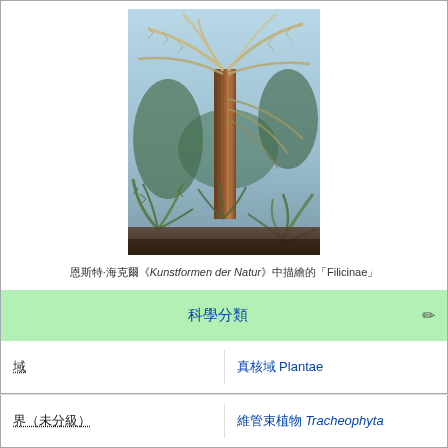[Figure (illustration): Botanical illustration of tree ferns from Kunstformen der Natur, plate Filicinae, showing tall palm-like fern trees with arching fronds in a tropical forest setting, painted in warm browns and greens.]
恩斯特·海克爾《Kunstformen der Natur》中描繪的「Filicinae」
科學分類
| 分類 | 值 |
| --- | --- |
| 域 | 真核域 Plantae |
| 界（未分級） | 維管束植物 Tracheophyta |